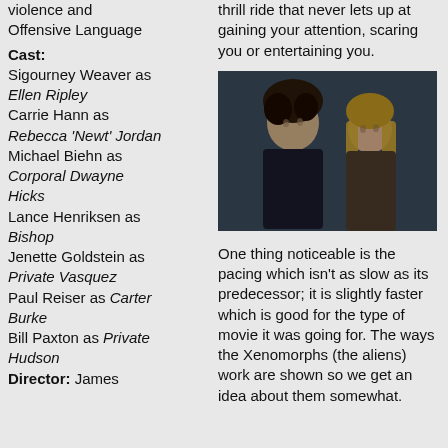violence and Offensive Language
Cast:
Sigourney Weaver as Ellen Ripley
Carrie Hann as Rebecca 'Newt' Jordan
Michael Biehn as Corporal Dwayne Hicks
Lance Henriksen as Bishop
Jenette Goldstein as Private Vasquez
Paul Reiser as Carter Burke
Bill Paxton as Private Hudson
Director: James
thrill ride that never lets up at gaining your attention, scaring you or entertaining you.
[Figure (photo): Two characters from the movie Aliens facing each other closely — one with curly dark hair (Sigourney Weaver as Ripley) and a young girl with long blonde hair (Newt).]
One thing noticeable is the pacing which isn't as slow as its predecessor; it is slightly faster which is good for the type of movie it was going for. The ways the Xenomorphs (the aliens) work are shown so we get an idea about them somewhat.